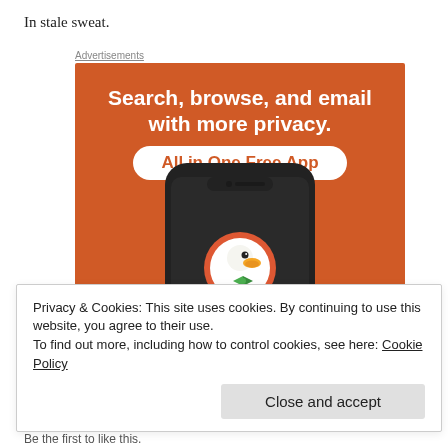In stale sweat.
[Figure (screenshot): DuckDuckGo advertisement on orange background. Text reads 'Search, browse, and email with more privacy. All in One Free App' with a phone showing DuckDuckGo logo and app name.]
Privacy & Cookies: This site uses cookies. By continuing to use this website, you agree to their use.
To find out more, including how to control cookies, see here: Cookie Policy
Close and accept
Be the first to like this.